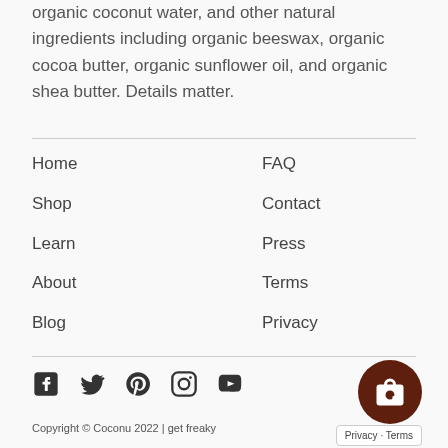organic coconut water, and other natural ingredients including organic beeswax, organic cocoa butter, organic sunflower oil, and organic shea butter. Details matter.
Home
Shop
Learn
About
Blog
FAQ
Contact
Press
Terms
Privacy
Copyright © Coconu 2022 | get freaky